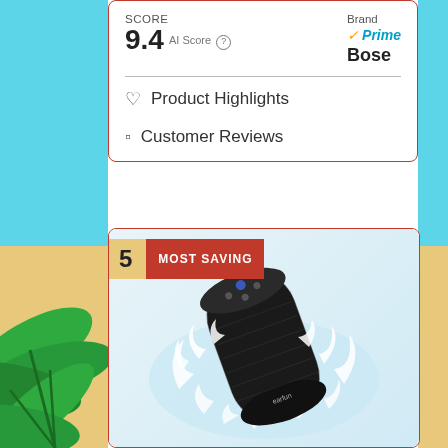SCORE
9.4 AI Score
Brand Prime Bose
Product Highlights
Customer Reviews
5 MOST SAVING
[Figure (photo): Black cylindrical bluetooth speaker (EarFun brand) with water splashing around it and yellow strap on top]